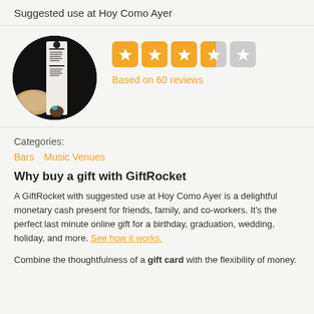Suggested use at Hoy Como Ayer
[Figure (photo): Circular photo of a restaurant menu being held, showing a long white menu card against a dark background with a plate of food visible]
Based on 60 reviews
Categories:
Bars   Music Venues
Why buy a gift with GiftRocket
A GiftRocket with suggested use at Hoy Como Ayer is a delightful monetary cash present for friends, family, and co-workers. It's the perfect last minute online gift for a birthday, graduation, wedding, holiday, and more. See how it works.
Combine the thoughtfulness of a gift card with the flexibility of money.